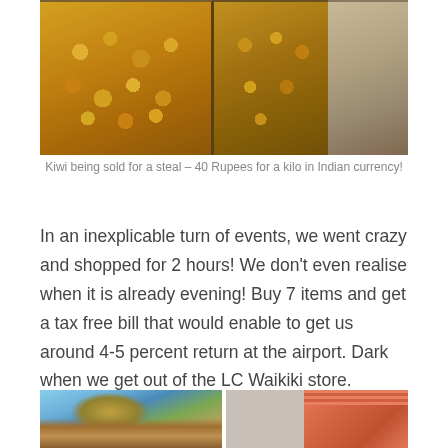[Figure (photo): Crates of kiwi fruit (golden/yellow kiwis) displayed for sale at a market, with gravel/ground visible on the right side]
Kiwi being sold for a steal – 40 Rupees for a kilo in Indian currency!
In an inexplicable turn of events, we went crazy and shopped for 2 hours! We don't even realise when it is already evening! Buy 7 items and get a tax free bill that would enable to get us around 4-5 percent return at the airport. Dark when we get out of the LC Waikiki store.
[Figure (photo): Two photos side by side: left shows a tree with autumn foliage against a blue sky with a building, right shows a storefront with a red/orange striped awning]